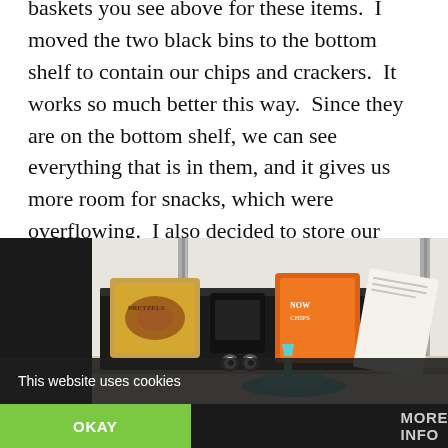baskets you see above for these items.  I moved the two black bins to the bottom shelf to contain our chips and crackers.  It works so much better this way.  Since they are on the bottom shelf, we can see everything that is in them, and it gives us more room for snacks, which were overflowing.  I also decided to store our extra bag clips right on the side of the bin.  We are always searching for them in our drawers. so this just makes more sense to me.  They are now right where we need them.
[Figure (photo): Photo of a pantry shelf showing snack bags (pretzels, chips) in a black bin with a teal/mint colored bag clip attached to the front edge of the bin.]
This website uses cookies
OKAY
MORE INFO